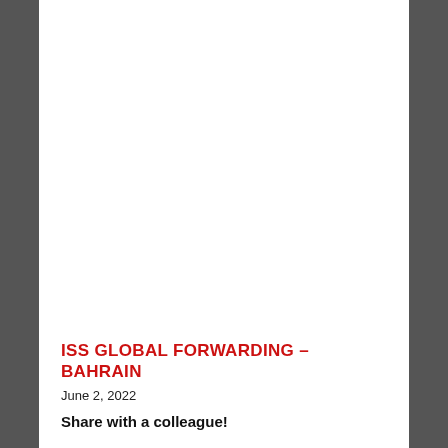ISS GLOBAL FORWARDING – BAHRAIN
June 2, 2022
Share with a colleague!